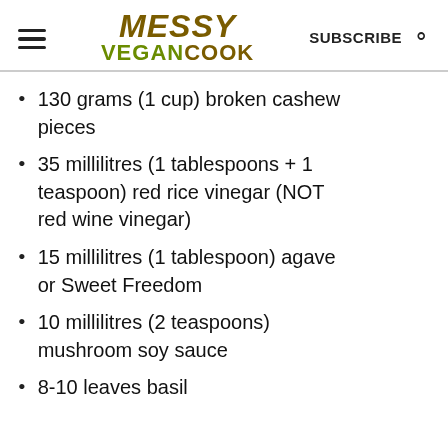MESSY VEGAN COOK — SUBSCRIBE
130 grams (1 cup) broken cashew pieces
35 millilitres (1 tablespoons + 1 teaspoon) red rice vinegar (NOT red wine vinegar)
15 millilitres (1 tablespoon) agave or Sweet Freedom
10 millilitres (2 teaspoons) mushroom soy sauce
8-10 leaves basil